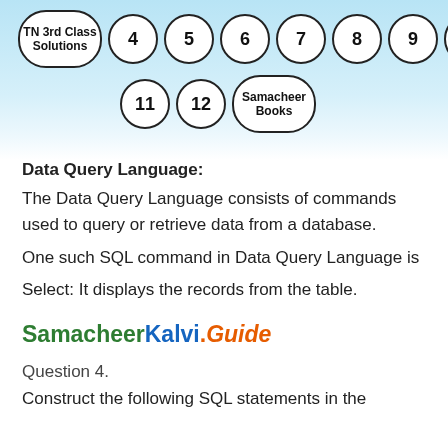[Figure (infographic): Navigation header with circular buttons: TN 3rd Class Solutions, 4, 5, 6, 7, 8, 9, 10 in row 1; 11, 12, Samacheer Books in row 2, on a light blue gradient background]
Data Query Language:
The Data Query Language consists of commands used to query or retrieve data from a database.
One such SQL command in Data Query Language is
Select: It displays the records from the table.
SamacheerKalvi.Guide
Question 4.
Construct the following SQL statements in the